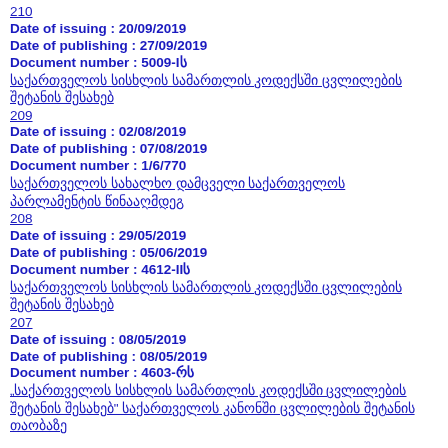210
Date of issuing : 20/09/2019
Date of publishing : 27/09/2019
Document number : 5009-Iს
საქართველოს სისხლის სამართლის კოდექსში ცვლილების შეტანის შესახებ
209
Date of issuing : 02/08/2019
Date of publishing : 07/08/2019
Document number : 1/6/770
საქართველოს სახალხო დამცველი საქართველოს პარლამენტის წინააღმდეგ
208
Date of issuing : 29/05/2019
Date of publishing : 05/06/2019
Document number : 4612-IIს
საქართველოს სისხლის სამართლის კოდექსში ცვლილების შეტანის შესახებ
207
Date of issuing : 08/05/2019
Date of publishing : 08/05/2019
Document number : 4603-რს
„საქართველოს სისხლის სამართლის კოდექსში ცვლილების შეტანის შესახებ" საქართველოს კანონში ცვლილების შეტანის თაობაზე